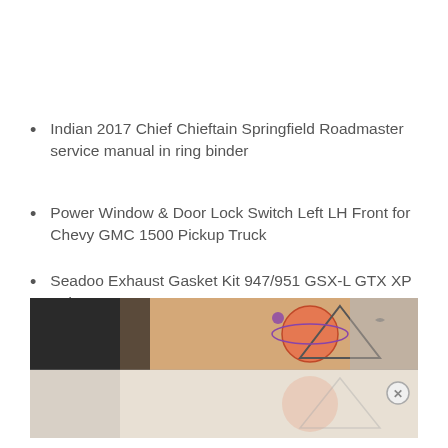Indian 2017 Chief Chieftain Springfield Roadmaster service manual in ring binder
Power Window & Door Lock Switch Left LH Front for Chevy GMC 1500 Pickup Truck
Seadoo Exhaust Gasket Kit 947/951 GSX-L GTX XP Ltd SP-L 1998 1999 2000 2001 NEW
[Figure (photo): Photo of a tattoo on a person's arm showing an artistic design with geometric shapes, a planet or sun with an orange/red hue, and fine line work. The bottom portion appears to be a faded or lighter version of the same image, possibly an advertisement overlay with a close button (X) in the bottom right.]